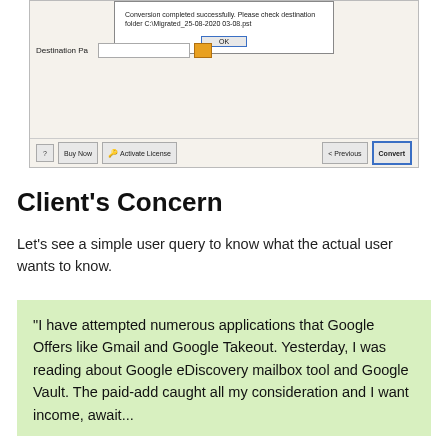[Figure (screenshot): Software dialog box showing 'Conversion completed successfully. Please check destination folder C:\Migrated_25-08-2020 03-08.pst' with an OK button, a Destination Path field, and toolbar buttons: ?, Buy Now, Activate License, < Previous, Convert.]
Client’s Concern
Let’s see a simple user query to know what the actual user wants to know.
“I have attempted numerous applications that Google Offers like Gmail and Google Takeout. Yesterday, I was reading about Google eDiscovery mailbox tool and Google Vault. The paid-add caught all my consideration and I want income, await...